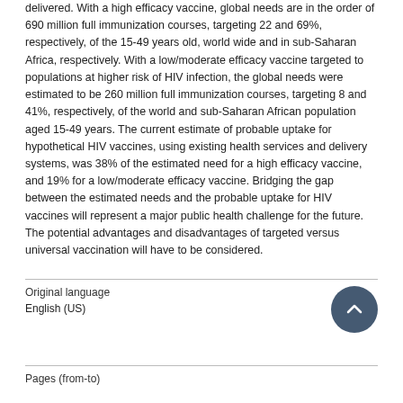delivered. With a high efficacy vaccine, global needs are in the order of 690 million full immunization courses, targeting 22 and 69%, respectively, of the 15-49 years old, world wide and in sub-Saharan Africa, respectively. With a low/moderate efficacy vaccine targeted to populations at higher risk of HIV infection, the global needs were estimated to be 260 million full immunization courses, targeting 8 and 41%, respectively, of the world and sub-Saharan African population aged 15-49 years. The current estimate of probable uptake for hypothetical HIV vaccines, using existing health services and delivery systems, was 38% of the estimated need for a high efficacy vaccine, and 19% for a low/moderate efficacy vaccine. Bridging the gap between the estimated needs and the probable uptake for HIV vaccines will represent a major public health challenge for the future. The potential advantages and disadvantages of targeted versus universal vaccination will have to be considered.
Original language
English (US)
Pages (from-to)